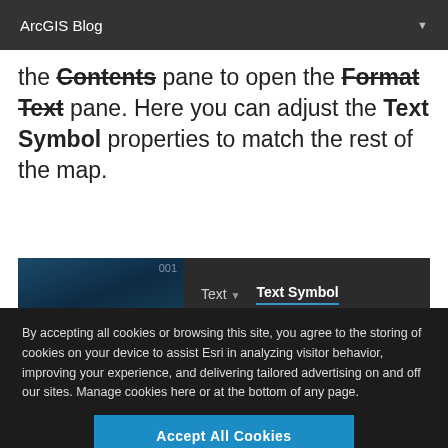ArcGIS Blog
the Contents pane to open the Format Text pane. Here you can adjust the Text Symbol properties to match the rest of the map.
[Figure (screenshot): Screenshot of ArcGIS interface showing Text and Text Symbol tabs in a dark toolbar panel]
By accepting all cookies or browsing this site, you agree to the storing of cookies on your device to assist Esri in analyzing visitor behavior, improving your experience, and delivering tailored advertising on and off our sites. Manage cookies here or at the bottom of any page.
Accept All Cookies
Cookies Settings